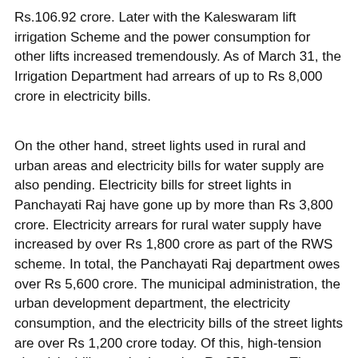Rs.106.92 crore. Later with the Kaleswaram lift irrigation Scheme and the power consumption for other lifts increased tremendously. As of March 31, the Irrigation Department had arrears of up to Rs 8,000 crore in electricity bills.
On the other hand, street lights used in rural and urban areas and electricity bills for water supply are also pending. Electricity bills for street lights in Panchayati Raj have gone up by more than Rs 3,800 crore. Electricity arrears for rural water supply have increased by over Rs 1,800 crore as part of the RWS scheme. In total, the Panchayati Raj department owes over Rs 5,600 crore. The municipal administration, the urban development department, the electricity consumption, and the electricity bills of the street lights are over Rs 1,200 crore today. Of this, high-tension electricity bills reached another Rs 350 crore. The arrears of Hyderabad Metro Water Works also reached Rs 2,750 crore.